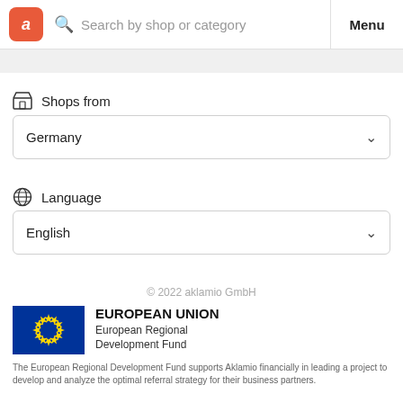a  Search by shop or category  Menu
Shops from
Germany
Language
English
© 2022 aklamio GmbH
[Figure (logo): European Union flag logo with blue background and yellow stars circle]
EUROPEAN UNION
European Regional Development Fund
The European Regional Development Fund supports Aklamio financially in leading a project to develop and analyze the optimal referral strategy for their business partners.